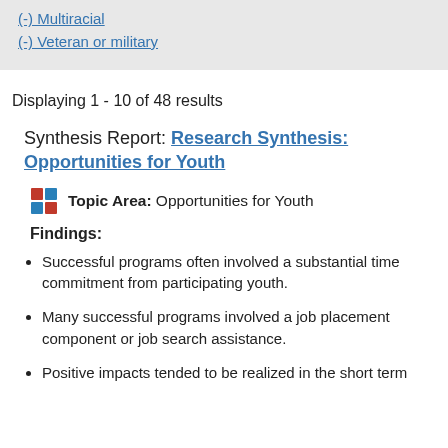(-) Multiracial
(-) Veteran or military
Displaying 1 - 10 of 48 results
Synthesis Report: Research Synthesis: Opportunities for Youth
Topic Area: Opportunities for Youth
Findings:
Successful programs often involved a substantial time commitment from participating youth.
Many successful programs involved a job placement component or job search assistance.
Positive impacts tended to be realized in the short term